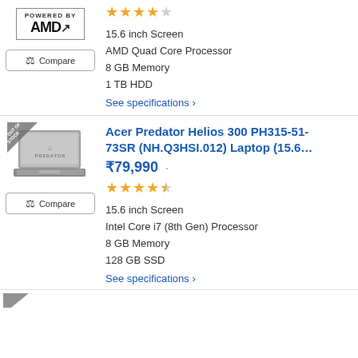[Figure (other): AMD Powered By badge logo]
15.6 inch Screen
AMD Quad Core Processor
8 GB Memory
1 TB HDD
See specifications ›
[Figure (photo): Acer Predator Helios 300 laptop image with OUT OF STOCK badge]
Acer Predator Helios 300 PH315-51-73SR (NH.Q3HSI.012) Laptop (15.6...
₹79,990
15.6 inch Screen
Intel Core i7 (8th Gen) Processor
8 GB Memory
128 GB SSD
See specifications ›